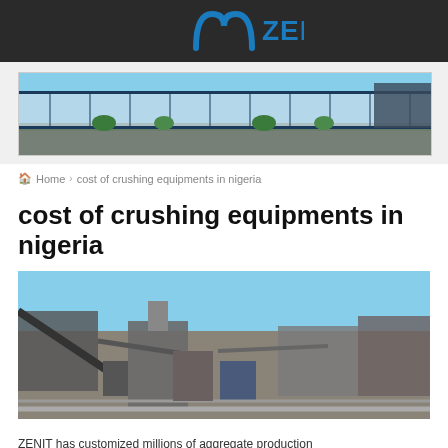ZENIT
[Figure (photo): Panoramic view of a large modern industrial or commercial facility with glass facade, blue sky background]
Home > cost of crushing equipments in nigeria
cost of crushing equipments in nigeria
[Figure (photo): Outdoor view of crushing equipment facility showing conveyor belts, machinery, and industrial crushing equipment under blue sky]
ZENIT has customized millions of aggregate production